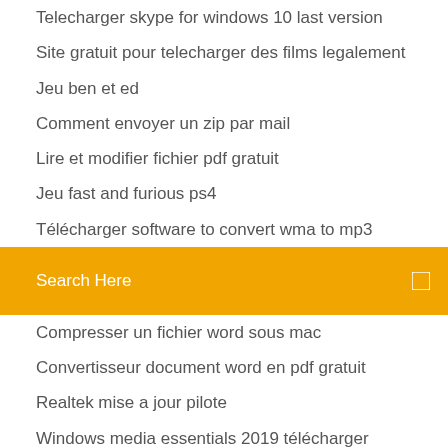Telecharger skype for windows 10 last version
Site gratuit pour telecharger des films legalement
Jeu ben et ed
Comment envoyer un zip par mail
Lire et modifier fichier pdf gratuit
Jeu fast and furious ps4
Télécharger software to convert wma to mp3
Search Here
Compresser un fichier word sous mac
Convertisseur document word en pdf gratuit
Realtek mise a jour pilote
Windows media essentials 2019 télécharger
Installer instagram sur iphone 5
Youtube comment télécharger minecraft gratuitement sur pc
Realtek wireless lan driver windows 10 asus
Comment mettre son visage sur une autre photo
Jeux euro truck simulator 2 pc